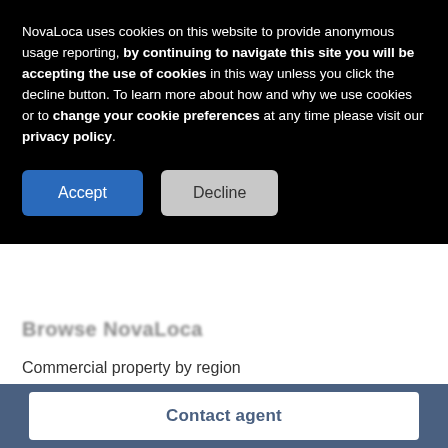NovaLoca uses cookies on this website to provide anonymous usage reporting, by continuing to navigate this site you will be accepting the use of cookies in this way unless you click the decline button. To learn more about how and why we use cookies or to change your cookie preferences at any time please visit our privacy policy.
Accept
Decline
Browse NavaLoca
Commercial property by region
Commercial property companies
Commercial property agents
Business parks & industrial estates
Account information
Register or set login
Contact agent